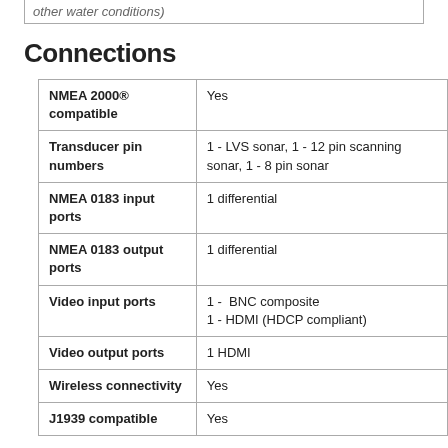|  |  |
| --- | --- |
|  | other water conditions) |
Connections
| Feature | Value |
| --- | --- |
| NMEA 2000® compatible | Yes |
| Transducer pin numbers | 1 - LVS sonar, 1 - 12 pin scanning sonar, 1 - 8 pin sonar |
| NMEA 0183 input ports | 1 differential |
| NMEA 0183 output ports | 1 differential |
| Video input ports | 1 -  BNC composite
1 - HDMI (HDCP compliant) |
| Video output ports | 1 HDMI |
| Wireless connectivity | Yes |
| J1939 compatible | Yes |
You might also be interested in ...